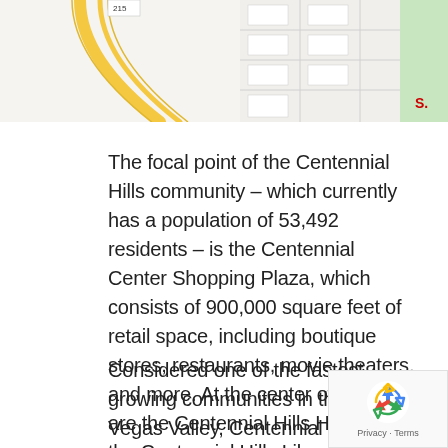[Figure (map): Partial Google Maps view showing street grid with yellow road curve on left side, street labels including 'W Washbu' and 'N Durar N' visible, green area on right edge]
The focal point of the Centennial Hills community – which currently has a population of 53,492 residents – is the Centennial Center Shopping Plaza, which consists of 900,000 square feet of retail space, including boutique stores, restaurants, movie theaters, and more. At the center of the plaza are the Centennial Hills Hospital, the Centennial Hills Library, and The Centennial Hills Community Center YMCA. Centennial Hills has one of the largest community parks in the Las Vegas Valley.
Considered one of the fastest growing communities in the Las Vegas Valley, Centennial Hills boasts a large number of public parks and amenities for local residents
[Figure (logo): Google reCAPTCHA badge with recycling-style logo and 'Privacy · Terms' text]